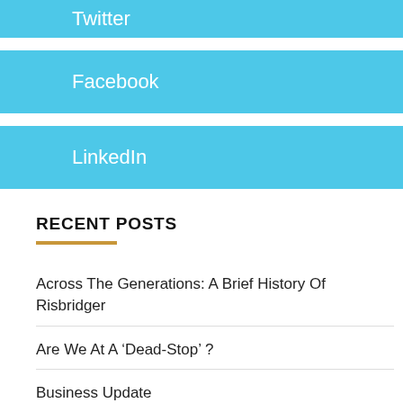Twitter
Facebook
LinkedIn
RECENT POSTS
Across The Generations: A Brief History Of Risbridger
Are We At A ‘Dead-Stop’ ?
Business Update